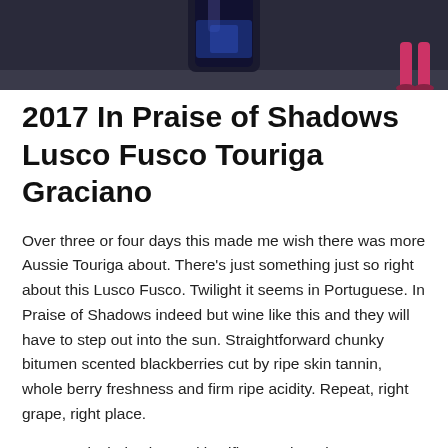[Figure (photo): Photo showing a dark wine bottle against a dark background with a person's legs visible on the right side]
2017 In Praise of Shadows Lusco Fusco Touriga Graciano
Over three or four days this made me wish there was more Aussie Touriga about. There’s just something just so right about this Lusco Fusco. Twilight it seems in Portuguese. In Praise of Shadows indeed but wine like this and they will have to step out into the sun. Straightforward chunky bitumen scented blackberries cut by ripe skin tannin, whole berry freshness and firm ripe acidity. Repeat, right grape, right place.
12.80% alcohol…ripe and justifies another glass. Screwcap. Sorry, forgot how much it cost and google ain’t no help.